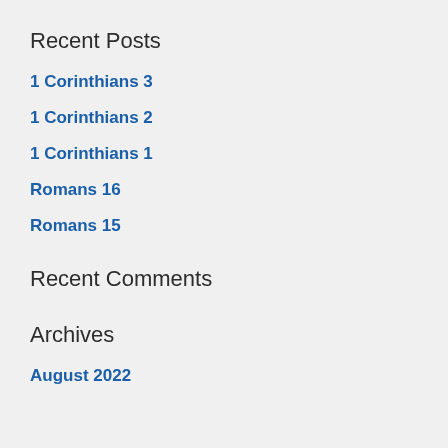Recent Posts
1 Corinthians 3
1 Corinthians 2
1 Corinthians 1
Romans 16
Romans 15
Recent Comments
Archives
August 2022